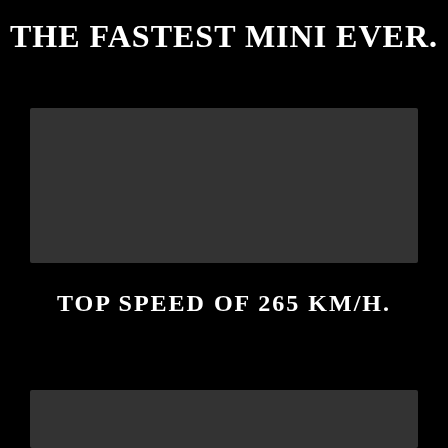THE FASTEST MINI EVER.
[Figure (photo): Dark image of a MINI car, shown from a dramatic angle on a black background]
TOP SPEED OF 265 KM/H.
[Figure (photo): Second dark image of a MINI car, partially visible at the bottom of the page]